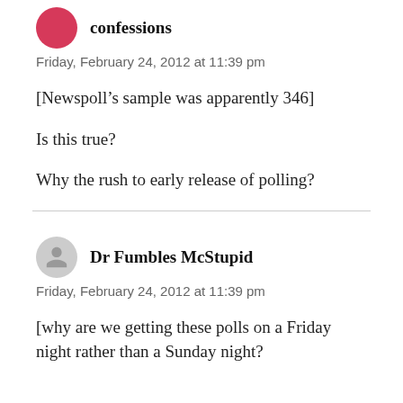confessions
Friday, February 24, 2012 at 11:39 pm
[Newspoll's sample was apparently 346]
Is this true?
Why the rush to early release of polling?
Dr Fumbles McStupid
Friday, February 24, 2012 at 11:39 pm
[why are we getting these polls on a Friday night rather than a Sunday night?